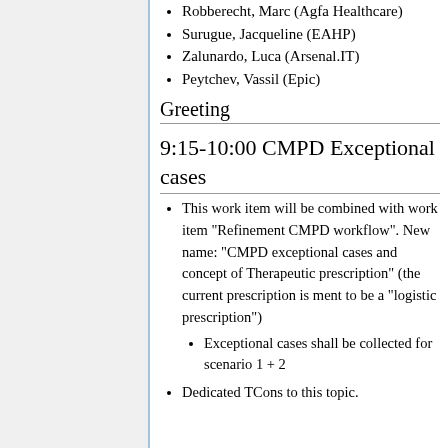Robberecht, Marc (Agfa Healthcare)
Surugue, Jacqueline (EAHP)
Zalunardo, Luca (Arsenal.IT)
Peytchev, Vassil (Epic)
Greeting
9:15-10:00 CMPD Exceptional cases
This work item will be combined with work item "Refinement CMPD workflow". New name: "CMPD exceptional cases and concept of Therapeutic prescription" (the current prescription is ment to be a "logistic prescription")
Exceptional cases shall be collected for scenario 1 + 2
Dedicated TCons to this topic.